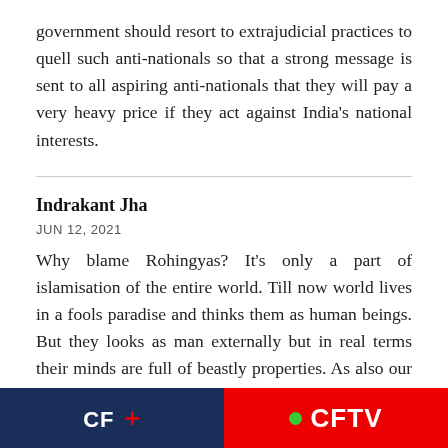government should resort to extrajudicial practices to quell such anti-nationals so that a strong message is sent to all aspiring anti-nationals that they will pay a very heavy price if they act against India's national interests.
Indrakant Jha
JUN 12, 2021
Why blame Rohingyas? It's only a part of islamisation of the entire world. Till now world lives in a fools paradise and thinks them as human beings. But they looks as man externally but in real terms their minds are full of beastly properties. As also our so called intelligentsia, politicians, writers, filmmakers, historians
CF + | CFTV